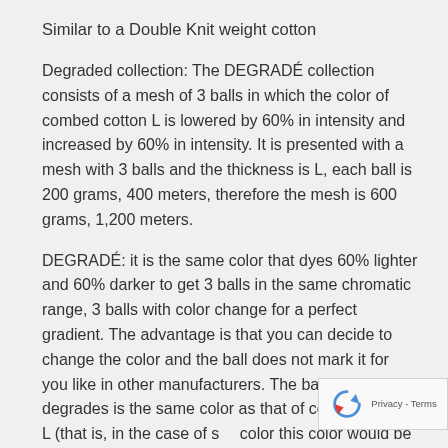Similar to a Double Knit weight cotton
Degraded collection: The DEGRADÉ collection consists of a mesh of 3 balls in which the color of combed cotton L is lowered by 60% in intensity and increased by 60% in intensity. It is presented with a mesh with 3 balls and the thickness is L, each ball is 200 grams, 400 meters, therefore the mesh is 600 grams, 1,200 meters.
DEGRADÉ: it is the same color that dyes 60% lighter and 60% darker to get 3 balls in the same chromatic range, 3 balls with color change for a perfect gradient. The advantage is that you can decide to change the color and the ball does not mark it for you like in other manufacturers. The ball that degrades is the same color as that of combed cotton L (that is, in the case of s... color this color would be the one that degrades 60% more and 60% less), so if material is missing it is not...